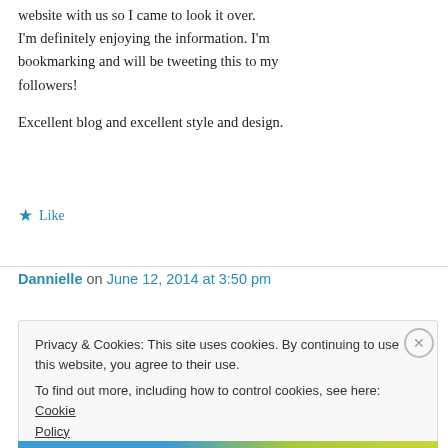website with us so I came to look it over. I'm definitely enjoying the information. I'm bookmarking and will be tweeting this to my followers!
Excellent blog and excellent style and design.
★ Like
Dannielle on June 12, 2014 at 3:50 pm
Privacy & Cookies: This site uses cookies. By continuing to use this website, you agree to their use.
To find out more, including how to control cookies, see here: Cookie Policy
Close and accept